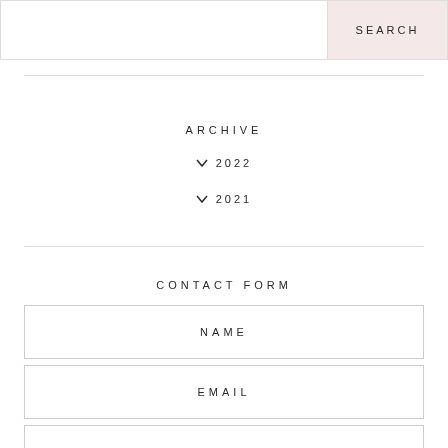SEARCH
ARCHIVE
2022
2021
CONTACT FORM
NAME
EMAIL
MESSAGE